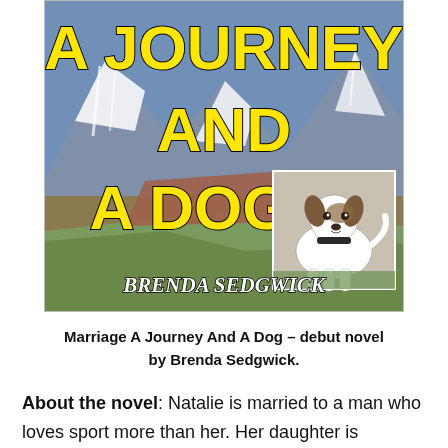[Figure (illustration): Book cover for 'A Journey And A Dog' by Brenda Sedgwick. Yellow bold title text over a mountain landscape background with snow-capped peaks and colored hillsides. A photo of a Jack Russell terrier dog is inset in the lower right. Author name 'BRENDA SEDGWICK' in white italic text at the bottom.]
Marriage A Journey And A Dog – debut novel by Brenda Sedgwick.
About the novel: Natalie is married to a man who loves sport more than her. Her daughter is becoming independent, her dad is moving away